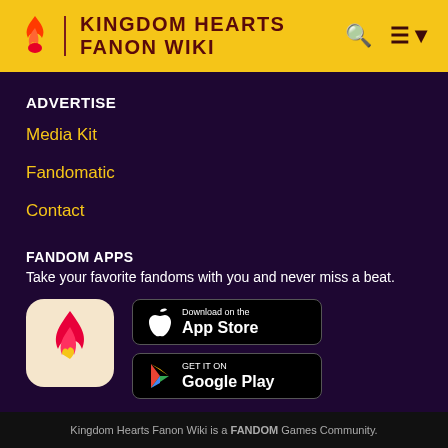KINGDOM HEARTS FANON WIKI
ADVERTISE
Media Kit
Fandomatic
Contact
FANDOM APPS
Take your favorite fandoms with you and never miss a beat.
[Figure (logo): Fandom app icon — pink/red flame with yellow heart on beige background]
[Figure (logo): Download on the App Store button (black, Apple logo)]
[Figure (logo): Get it on Google Play button (black, Google Play triangle logo)]
Kingdom Hearts Fanon Wiki is a FANDOM Games Community.